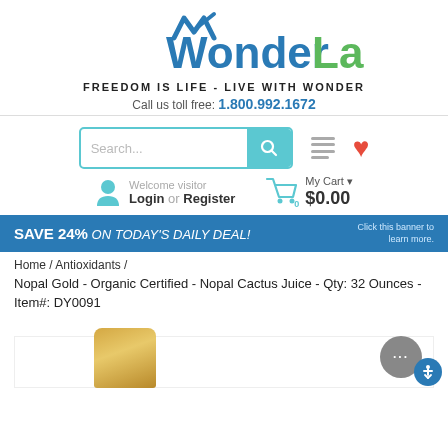[Figure (logo): WonderLabs logo with blue 'Wonder' and green 'Labs' text, checkmark above W]
FREEDOM IS LIFE - LIVE WITH WONDER
Call us toll free: 1.800.992.1672
[Figure (screenshot): Search bar with teal search button, menu icon, and red heart icon]
Welcome visitor Login or Register   My Cart ▾ $0.00
[Figure (infographic): SAVE 24% ON TODAY'S DAILY DEAL! Click this banner to learn more.]
Home / Antioxidants /
Nopal Gold - Organic Certified - Nopal Cactus Juice - Qty: 32 Ounces - Item#: DY0091
[Figure (photo): Partial view of a gold/amber bottle top]